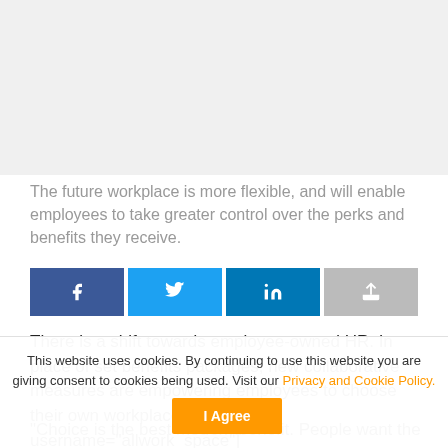[Figure (photo): Image placeholder area at top of page]
The future workplace is more flexible, and will enable employees to take greater control over the perks and benefits they receive.
[Figure (other): Social share buttons: Facebook, Twitter, LinkedIn, Share]
There is a shift towards employee-owned HR. In place of set benefits packages, new collaborative measures are empowering employees to choose their own workplace perks." username="allwork_space"]
“Choice is the best modern benefit. People want the
This website uses cookies. By continuing to use this website you are giving consent to cookies being used. Visit our Privacy and Cookie Policy.